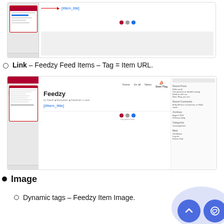[Figure (screenshot): Screenshot of a web editor showing a menu dropdown with a red-outlined selection area and an arrow pointing to [#item_title] tag, with color picker dots below]
Link – Feedzy Feed Items – Tag = Item URL.
[Figure (screenshot): Screenshot of a webpage editor with sidebar menu (red outlined), showing Feedzy page with [#item_title] dynamic tag and social sharing buttons]
Image
Dynamic tags – Feedzy Item Image.